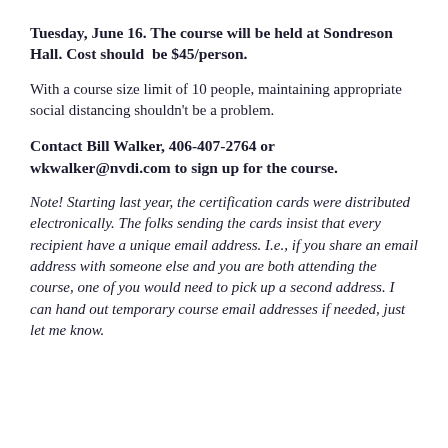Tuesday, June 16. The course will be held at Sondreson Hall. Cost should be $45/person.
With a course size limit of 10 people, maintaining appropriate social distancing shouldn't be a problem.
Contact Bill Walker, 406-407-2764 or wkwalker@nvdi.com to sign up for the course.
Note! Starting last year, the certification cards were distributed electronically. The folks sending the cards insist that every recipient have a unique email address. I.e., if you share an email address with someone else and you are both attending the course, one of you would need to pick up a second address. I can hand out temporary course email addresses if needed, just let me know.